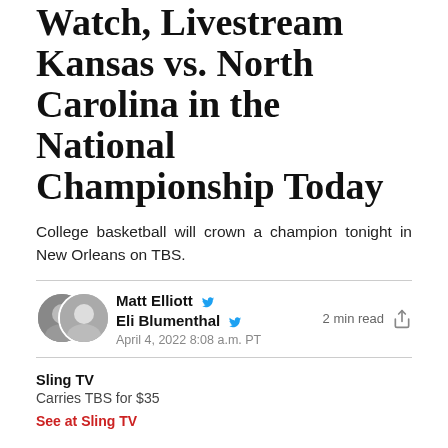Watch, Livestream Kansas vs. North Carolina in the National Championship Today
College basketball will crown a champion tonight in New Orleans on TBS.
Matt Elliott  Eli Blumenthal  April 4, 2022 8:08 a.m. PT  2 min read
Sling TV
Carries TBS for $35
See at Sling TV